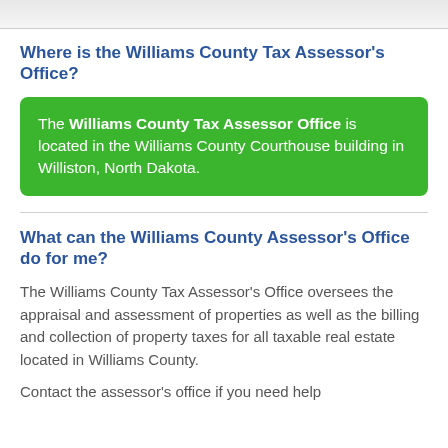Where is the Williams County Tax Assessor's Office?
The Williams County Tax Assessor Office is located in the Williams County Courthouse building in Williston, North Dakota.
What can the Williams County Assessor's Office do for me?
The Williams County Tax Assessor's Office oversees the appraisal and assessment of properties as well as the billing and collection of property taxes for all taxable real estate located in Williams County.
Contact the assessor's office if you need help